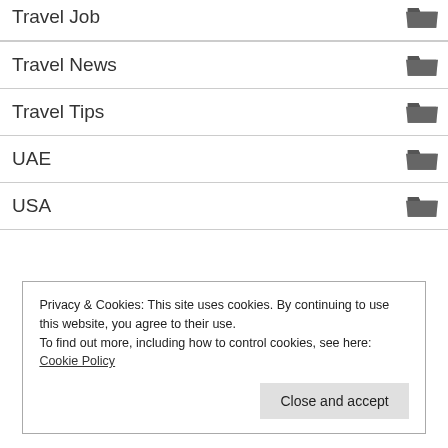Travel Job
Travel News
Travel Tips
UAE
USA
Privacy & Cookies: This site uses cookies. By continuing to use this website, you agree to their use.
To find out more, including how to control cookies, see here: Cookie Policy